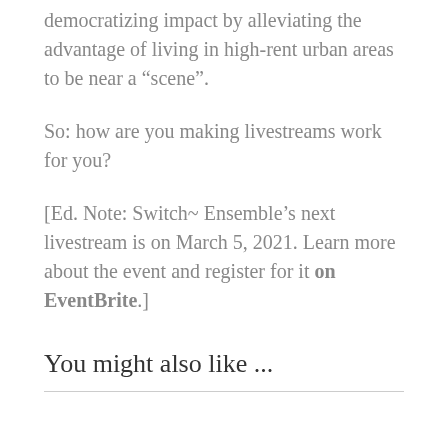democratizing impact by alleviating the advantage of living in high-rent urban areas to be near a “scene”.
So: how are you making livestreams work for you?
[Ed. Note: Switch~ Ensemble’s next livestream is on March 5, 2021. Learn more about the event and register for it on EventBrite.]
You might also like ...